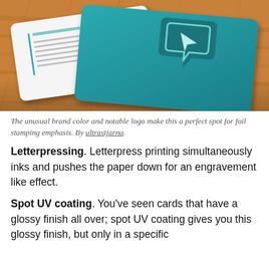[Figure (photo): Two business cards on a wooden surface. One card is white with teal text and a vertical teal line accent. The other card is dark teal/green with a 3D chat bubble logo icon in teal and white.]
The unusual brand color and notable logo make this a perfect spot for foil stamping emphasis. By ultrastjarna.
Letterpressing. Letterpress printing simultaneously inks and pushes the paper down for an engravement like effect.
Spot UV coating. You’ve seen cards that have a glossy finish all over; spot UV coating gives you this glossy finish, but only in a specific